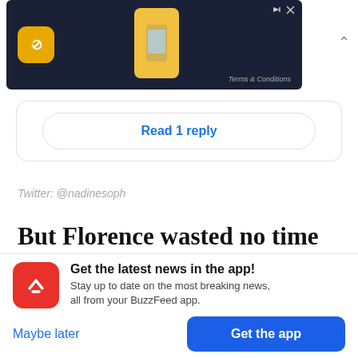[Figure (screenshot): Advertisement banner with dark navy background showing an app icon (orange circle with paper plane) and a phone image, with 'Terms & Conditions' text]
Read 1 reply
Twitter: @nadinesoph
But Florence wasted no time in shutting down the rumors, posting a lengthy but lighthearted
[Figure (screenshot): BuzzFeed app promotional banner with red icon showing upward arrow, text 'Get the latest news in the app! Stay up to date on the most breaking news, all from your BuzzFeed app.' with 'Maybe later' and 'Get the app' buttons]